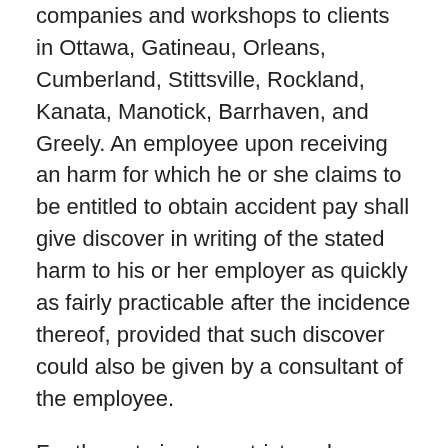companies and workshops to clients in Ottawa, Gatineau, Orleans, Cumberland, Stittsville, Rockland, Kanata, Manotick, Barrhaven, and Greely. An employee upon receiving an harm for which he or she claims to be entitled to obtain accident pay shall give discover in writing of the stated harm to his or her employer as quickly as fairly practicable after the incidence thereof, provided that such discover could also be given by a consultant of the employee.
For those trying to restrict pack measurement and weight, our NeoAirÅ® series offers superior heat-to-weight ratios.
Remove small amounts of grime from the outer with warm water and a mushy cloth and after forty-50 nights fully wash a sleeping bag to take away ingrained dust and restore its loft.